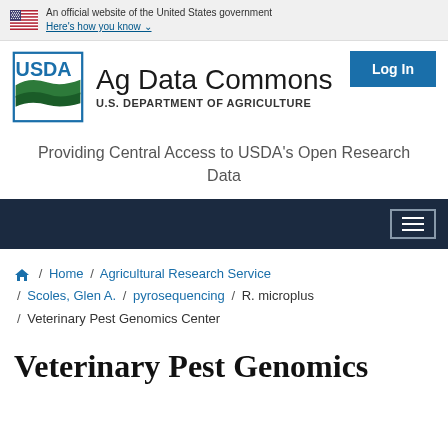An official website of the United States government. Here's how you know
[Figure (logo): USDA Ag Data Commons logo with USDA emblem and text 'Ag Data Commons / U.S. DEPARTMENT OF AGRICULTURE']
Providing Central Access to USDA's Open Research Data
Breadcrumb navigation: Home / Agricultural Research Service / Scoles, Glen A. / pyrosequencing / R. microplus / Veterinary Pest Genomics Center
Veterinary Pest Genomics...